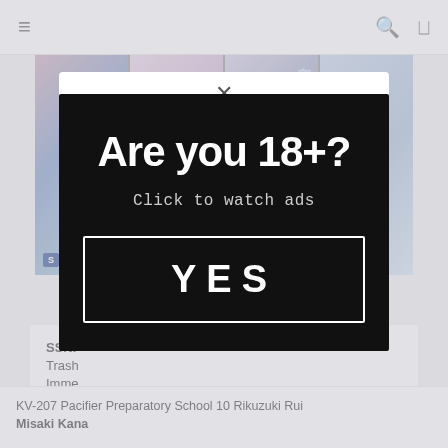≡    🔍  ⤢
[Figure (screenshot): Thumbnail collage of multiple images arranged in a grid]
SSNI Trash Imme...
2018
▶ P...
[Figure (screenshot): Age verification modal overlay on dark background with text 'Are you 18+?' and 'Click to watch ads' and a YES button]
KV-207 Pacifier Preparatory School 10 Rikuzuki Rui Misaki Kana